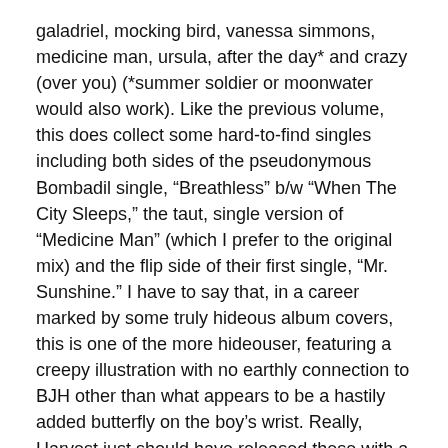galadriel, mocking bird, vanessa simmons, medicine man, ursula, after the day* and crazy (over you) (*summer soldier or moonwater would also work). Like the previous volume, this does collect some hard-to-find singles including both sides of the pseudonymous Bombadil single, “Breathless” b/w “When The City Sleeps,” the taut, single version of “Medicine Man” (which I prefer to the original mix) and the flip side of their first single, “Mr. Sunshine.” I have to say that, in a career marked by some truly hideous album covers, this is one of the more hideouser, featuring a creepy illustration with no earthly connection to BJH other than what appears to be a hastily added butterfly on the boy’s wrist. Really, Harvest just should have released these with a sticker that read “Repackaged–now with palpable animus!”
Original LP Version